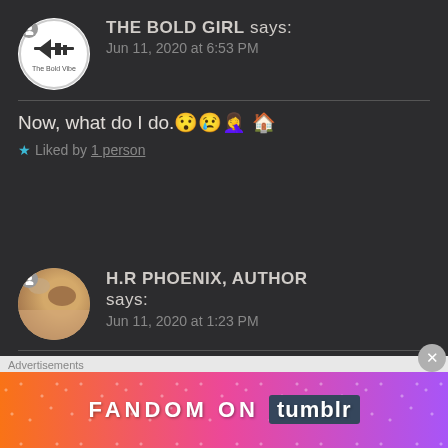[Figure (other): User avatar for 'The Bold Girl' — circular white background with small logo/icon inside and a user silhouette icon in top-left corner]
THE BOLD GIRL says:
Jun 11, 2020 at 6:53 PM
Now, what do I do.😯😢🤦‍♀️🏠
★ Liked by 1 person
[Figure (photo): Circular avatar photo showing a cat being held by hands]
H.R PHOENIX, AUTHOR says:
Jun 11, 2020 at 1:23 PM
Go to your dashboard, head to
Advertisements
[Figure (other): Fandom on Tumblr advertisement banner with colorful gradient background]